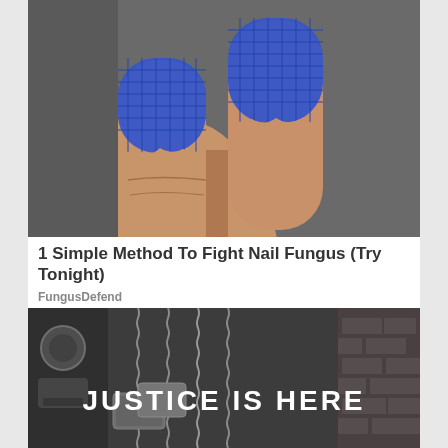[Figure (photo): Close-up photo of two fingers wrapped in blue mesh/chain-mail fingertip protectors, showing the fingernails and skin texture against a dark background]
1 Simple Method To Fight Nail Fungus (Try Tonight)
FungusDefend
[Figure (photo): Black and white photo of military dog tags on ball chains with text overlay reading 'JUSTICE IS HERE']